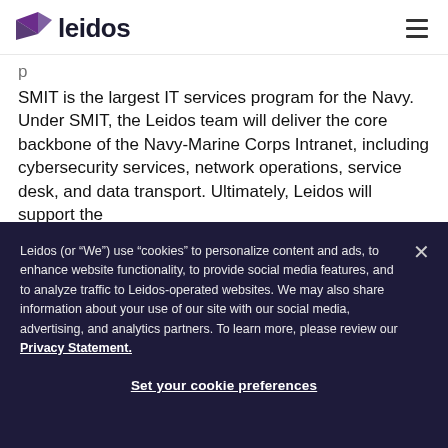Leidos
SMIT is the largest IT services program for the Navy. Under SMIT, the Leidos team will deliver the core backbone of the Navy-Marine Corps Intranet, including cybersecurity services, network operations, service desk, and data transport. Ultimately, Leidos will support the
Leidos (or “We”) use “cookies” to personalize content and ads, to enhance website functionality, to provide social media features, and to analyze traffic to Leidos-operated websites. We may also share information about your use of our site with our social media, advertising, and analytics partners. To learn more, please review our Privacy Statement.
Set your cookie preferences